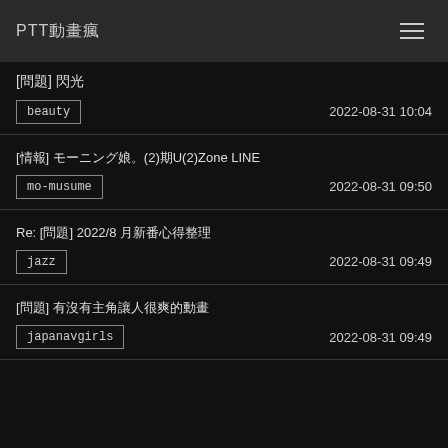PTT動畫瘋
[問題] 閃光
[情報] モーニング娘。(2)期U(2)Zone LINE
Re: [問題] 2022/8 月新番心得整理
[問題] 有沒有主角讓人很爽的動畫